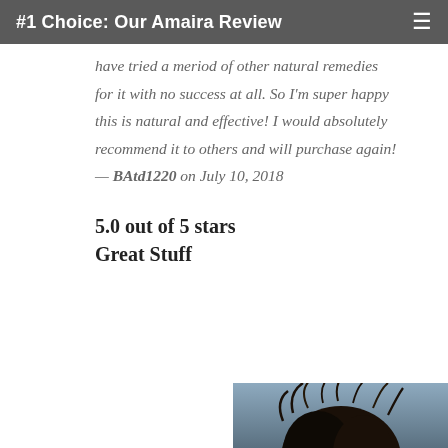#1 Choice: Our Amaira Review
have tried a meriod of other natural remedies for it with no success at all. So I'm super happy this is natural and effective! I would absolutely recommend it to others and will purchase again! — BAtd1220 on July 10, 2018
5.0 out of 5 stars
Great Stuff
[Figure (photo): A photo of a person with dark messy/curly hair against a blue-grey sky background, partially visible at the bottom right of the page.]